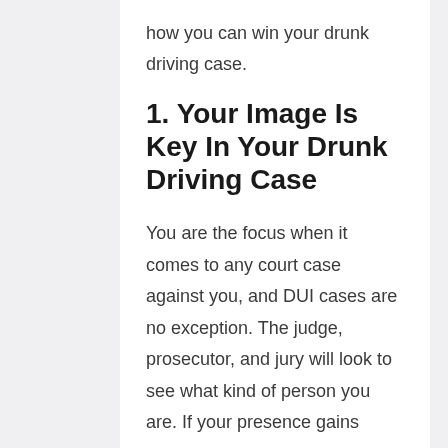how you can win your drunk driving case.
1. Your Image Is Key In Your Drunk Driving Case
You are the focus when it comes to any court case against you, and DUI cases are no exception. The judge, prosecutor, and jury will look to see what kind of person you are. If your presence gains